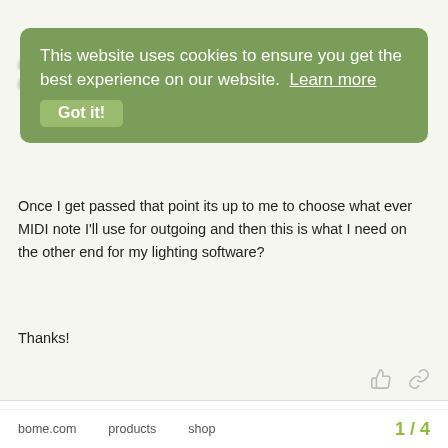[Figure (screenshot): Screenshot of a forum post on bome.com with a cookie consent overlay. The overlay is a green rounded rectangle with text 'This website uses cookies to ensure you get the best experience on our website. Learn more' and a 'Got it!' button. Below is a forum post with text about MIDI notes and lighting software, showing 'Thanks!', post metadata (created Feb '17, last reply Feb '17, 3 replies), and a reply from SteveC (staff) dated Feb '17. The page footer shows bome.com, products, shop links and pagination '1 / 4'.]